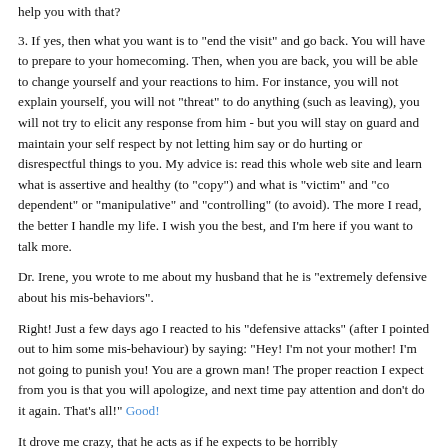help you with that?
3. If yes, then what you want is to "end the visit" and go back. You will have to prepare to your homecoming. Then, when you are back, you will be able to change yourself and your reactions to him. For instance, you will not explain yourself, you will not "threat" to do anything (such as leaving), you will not try to elicit any response from him - but you will stay on guard and maintain your self respect by not letting him say or do hurting or disrespectful things to you. My advice is: read this whole web site and learn what is assertive and healthy (to "copy") and what is "victim" and "co dependent" or "manipulative" and "controlling" (to avoid). The more I read, the better I handle my life. I wish you the best, and I'm here if you want to talk more.
Dr. Irene, you wrote to me about my husband that he is "extremely defensive about his mis-behaviors".
Right! Just a few days ago I reacted to his "defensive attacks" (after I pointed out to him some mis-behaviour) by saying: "Hey! I'm not your mother! I'm not going to punish you! You are a grown man! The proper reaction I expect from you is that you will apologize, and next time pay attention and don't do it again. That's all!" Good!
It drove me crazy, that he acts as if he expects to be horribly